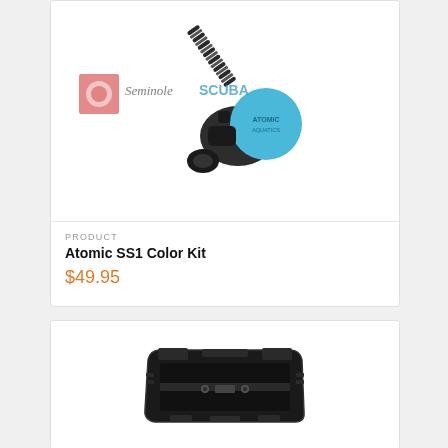[Figure (photo): Atomic SS1 scuba regulator second stage with corrugated hose, blue color accent disc with Atomic Aquatics branding, black body]
PRODUCT
Atomic SS1 Color Kit
$49.95
[Figure (photo): Black scuba diving mask buckle/frame component, viewed from above, showing clip slots and central mounting hardware]